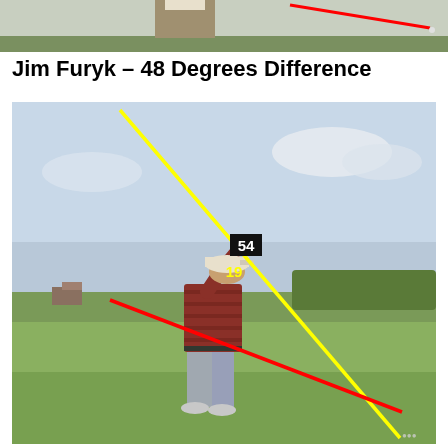[Figure (photo): Top cropped photo of a golfer at top of backswing with a red line overlay, shown from behind/side view on a course or driving range.]
Jim Furyk – 48 Degrees Difference
[Figure (photo): Photo of Jim Furyk at the top of his backswing on a golf course with a yellow diagonal line (labeled 54) and a red diagonal line (labeled 19) overlaid, showing the angular difference between his club shaft plane and body/arm plane. Green fairway and treeline visible in background.]